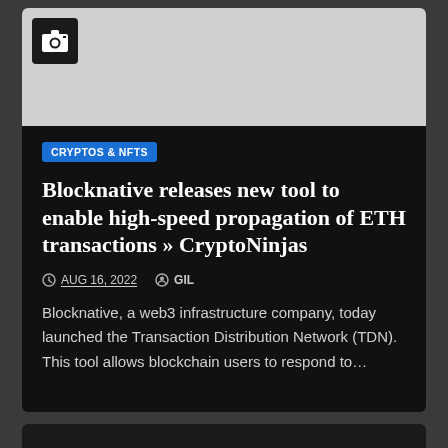[Figure (photo): Gray placeholder image area with a camera icon in the top-left corner on a dark background square]
CRYPTOS & NFTS
Blocknative releases new tool to enable high-speed propagation of ETH transactions » CryptoNinjas
AUG 16, 2022   GIL
Blocknative, a web3 infrastructure company, today launched the Transaction Distribution Network (TDN). This tool allows blockchain users to respond to…